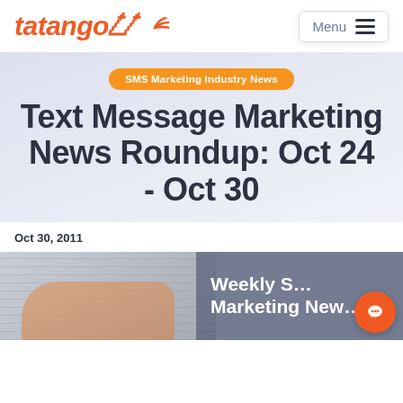tatango — Menu
SMS Marketing Industry News
Text Message Marketing News Roundup: Oct 24 - Oct 30
Oct 30, 2011
[Figure (photo): Newspaper/hand image with overlay text: Weekly S... Marketing News... (Weekly SMS Marketing News Roundup)]